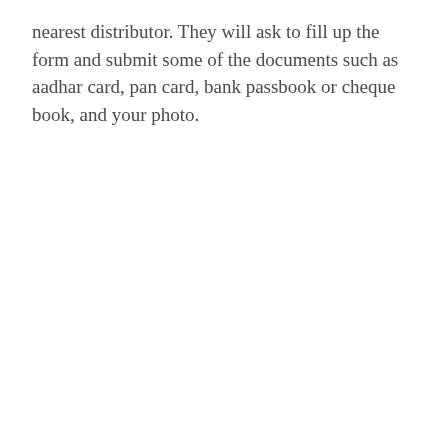nearest distributor. They will ask to fill up the form and submit some of the documents such as aadhar card, pan card, bank passbook or cheque book, and your photo.